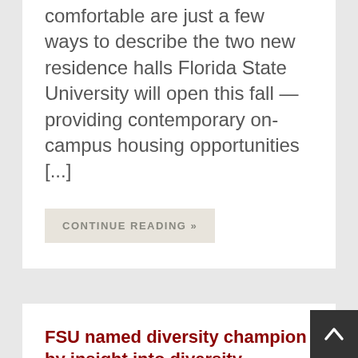comfortable are just a few ways to describe the two new residence halls Florida State University will open this fall — providing contemporary on-campus housing opportunities [...]
CONTINUE READING »
FSU named diversity champion by insight into diversity
[Figure (photo): Featured image placeholder box with alt text 'featured image']
For a second consecutive year, Florida State University has been recognized by INSIGHT Into Diversity magazine as a "Diversity Champion" in higher